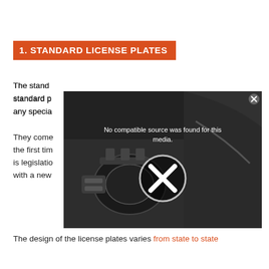1. STANDARD LICENSE PLATES
The standard license plates issued to car owners are called standard plates. They are required for all vehicles unless you have any special plates.
[Figure (screenshot): Video player overlay showing 'No compatible source was found for this media.' with an X icon, over a dark engine bay background photo. A close button (x) appears in the top right corner.]
They come with standard plates when you register your car for the first time or renew your registration. The only exception is legislation in some states that requires you to be issued with a new plate.
The design of the license plates varies from state to state